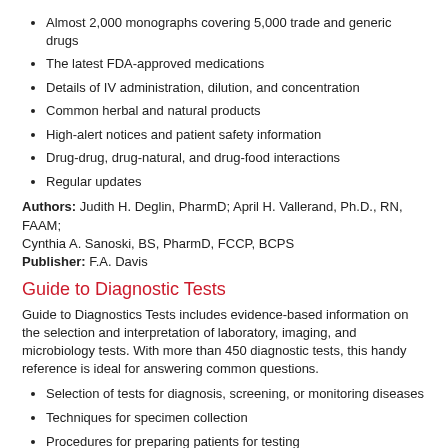Almost 2,000 monographs covering 5,000 trade and generic drugs
The latest FDA-approved medications
Details of IV administration, dilution, and concentration
Common herbal and natural products
High-alert notices and patient safety information
Drug-drug, drug-natural, and drug-food interactions
Regular updates
Authors: Judith H. Deglin, PharmD; April H. Vallerand, Ph.D., RN, FAAM; Cynthia A. Sanoski, BS, PharmD, FCCP, BCPS
Publisher: F.A. Davis
Guide to Diagnostic Tests
Guide to Diagnostics Tests includes evidence-based information on the selection and interpretation of laboratory, imaging, and microbiology tests. With more than 450 diagnostic tests, this handy reference is ideal for answering common questions.
Selection of tests for diagnosis, screening, or monitoring diseases
Techniques for specimen collection
Procedures for preparing patients for testing
Pointers for additional information in medical literature
Editors: Diana Nicoll, MD, Ph.D., MPA; Chuanyi Mark Lu, MD; Michael Pignone, MD, MPH; Stephen J. McPhee, MD